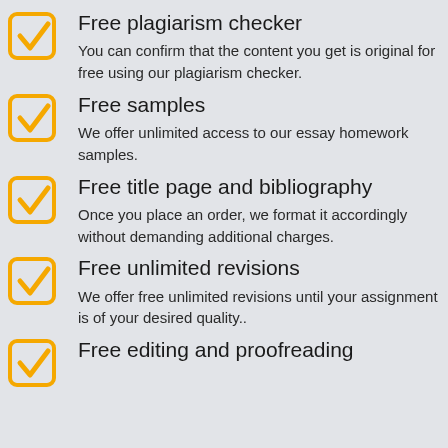Free plagiarism checker
You can confirm that the content you get is original for free using our plagiarism checker.
Free samples
We offer unlimited access to our essay homework samples.
Free title page and bibliography
Once you place an order, we format it accordingly without demanding additional charges.
Free unlimited revisions
We offer free unlimited revisions until your assignment is of your desired quality..
Free editing and proofreading